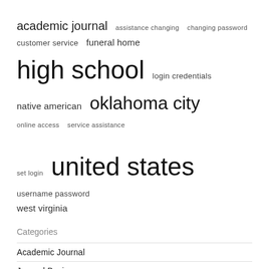[Figure (other): Tag cloud with terms of varying font sizes representing search keywords: academic journal, assistance changing, changing password, customer service, funeral home, high school, login credentials, native american, oklahoma city, online access, service assistance, set login, united states, username password, west virginia]
Categories
Academic Journal
Journal Business
Journal News
Journal Record
Tribe Journal